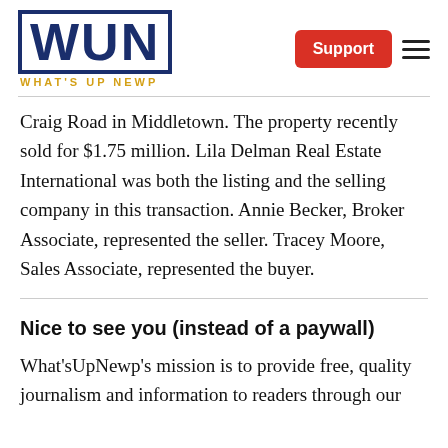WUN WHAT'S UP NEWP
Craig Road in Middletown. The property recently sold for $1.75 million. Lila Delman Real Estate International was both the listing and the selling company in this transaction. Annie Becker, Broker Associate, represented the seller. Tracey Moore, Sales Associate, represented the buyer.
Nice to see you (instead of a paywall)
What'sUpNewp's mission is to provide free, quality journalism and information to readers through our